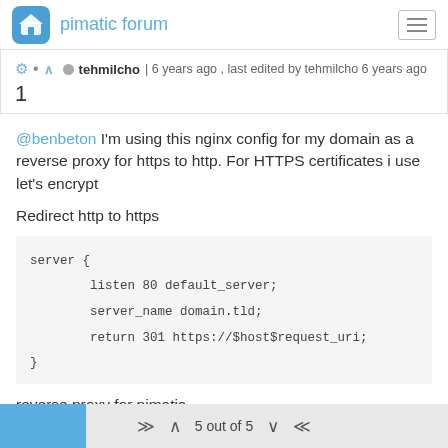pimatic forum
tehmilcho | 6 years ago , last edited by tehmilcho 6 years ago
1
@benbeton I'm using this nginx config for my domain as a reverse proxy for https to http. For HTTPS certificates i use let's encrypt
Redirect http to https
server {
        listen 80 default_server;
        server_name domain.tld;
        return 301 https://$host$request_uri;
}
reverse proxy for pimatic
5 out of 5